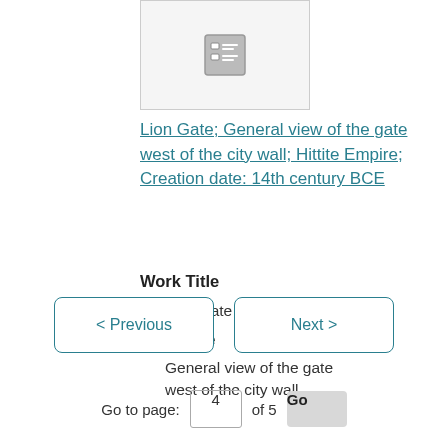[Figure (screenshot): Thumbnail image placeholder with a document/list icon, gray border, light gray background]
Lion Gate; General view of the gate west of the city wall; Hittite Empire; Creation date: 14th century BCE
Work Title
Lion Gate
View Title
General view of the gate west of the city wall
< Previous   Next >   Go to page: 4 of 5 Go